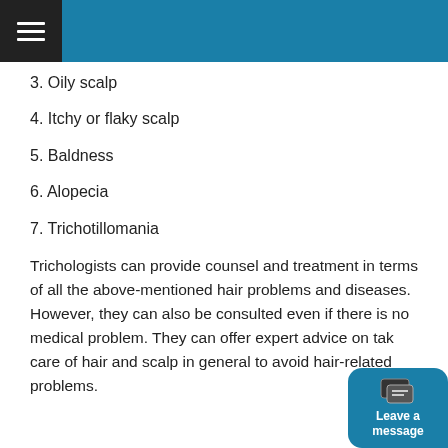3. Oily scalp
4. Itchy or flaky scalp
5. Baldness
6. Alopecia
7. Trichotillomania
Trichologists can provide counsel and treatment in terms of all the above-mentioned hair problems and diseases. However, they can also be consulted even if there is no medical problem. They can offer expert advice on taking care of hair and scalp in general to avoid hair-related problems.